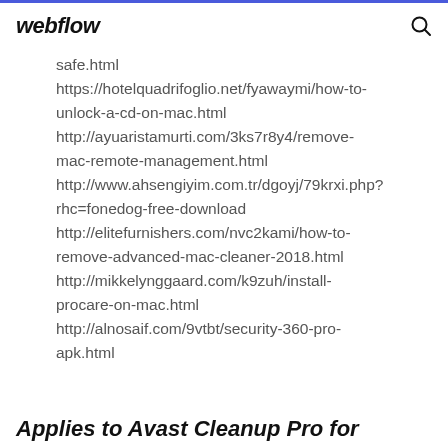webflow
safe.html https://hotelquadrifoglio.net/fyawaymi/how-to-unlock-a-cd-on-mac.html http://ayuaristamurti.com/3ks7r8y4/remove-mac-remote-management.html http://www.ahsengiyim.com.tr/dgoyj/79krxi.php?rhc=fonedog-free-download http://elitefurnishers.com/nvc2kami/how-to-remove-advanced-mac-cleaner-2018.html http://mikkelynggaard.com/k9zuh/install-procare-on-mac.html http://alnosaif.com/9vtbt/security-360-pro-apk.html
Applies to Avast Cleanup Pro for